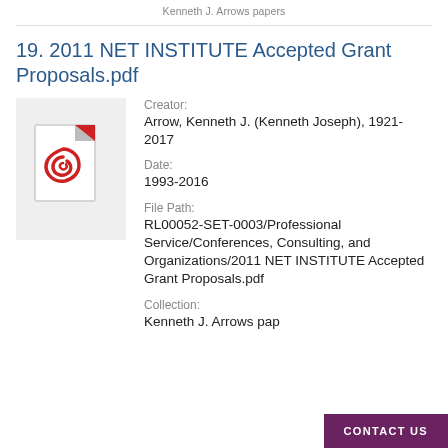Kenneth J. Arrows papers
19. 2011 NET INSTITUTE Accepted Grant Proposals.pdf
[Figure (illustration): PDF file icon with red Adobe Acrobat logo on grey background]
Creator:
Arrow, Kenneth J. (Kenneth Joseph), 1921-2017
Date:
1993-2016
File Path:
RL00052-SET-0003/Professional Service/Conferences, Consulting, and Organizations/2011 NET INSTITUTE Accepted Grant Proposals.pdf
Collection:
Kenneth J. Arrows pap
CONTACT US